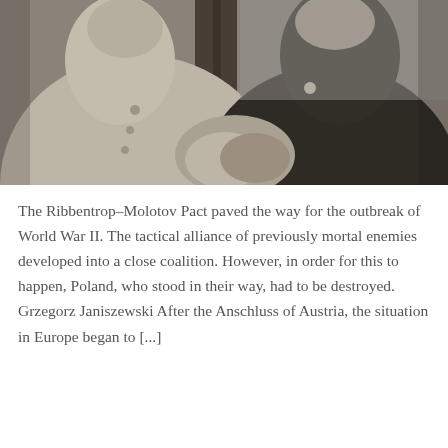[Figure (photo): Black and white photograph of two men in suits shaking hands, likely Ribbentrop and Molotov, standing in front of a wooden paneled door or wall.]
The Ribbentrop–Molotov Pact paved the way for the outbreak of World War II. The tactical alliance of previously mortal enemies developed into a close coalition. However, in order for this to happen, Poland, who stood in their way, had to be destroyed. Grzegorz Janiszewski After the Anschluss of Austria, the situation in Europe began to [...]